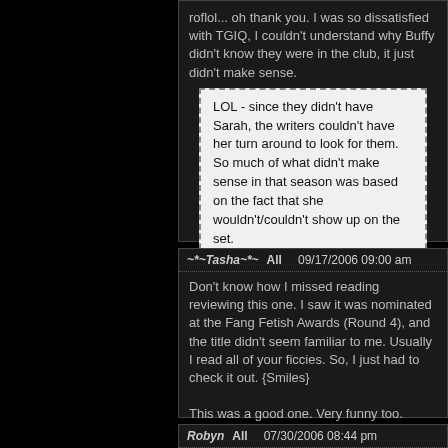roflol... oh thank you. I was so dissatisfied with TGIQ, I couldn't understand why Buffy didn't know they were in the club, it just didn't make sense.
LOL - since they didn't have Sarah, the writers couldn't have her turn around to look for them. So much of what didn't make sense in that season was based on the fact that she wouldn't/couldn't show up on the set.
~*~Tasha~*~  All  09/17/2006 09:00 am
Don't know how I missed reading reviewing this one. I saw it was nominated at the Fang Fetish Awards (Round 4), and the title didn't seem familiar to me. Usually I read all of your ficcies. So, I just had to check it out. {Smiles}
This was a good one. Very funny too.
Anything to make Wulfie happy....
Robyn  All  07/30/2006 08:44 pm